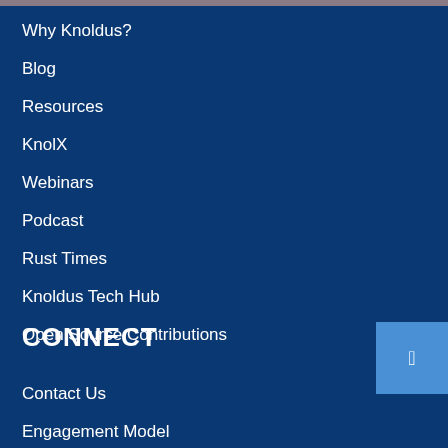Why Knoldus?
Blog
Resources
KnolX
Webinars
Podcast
Rust Times
Knoldus Tech Hub
Open Source Contributions
CONNECT
Contact Us
Engagement Model